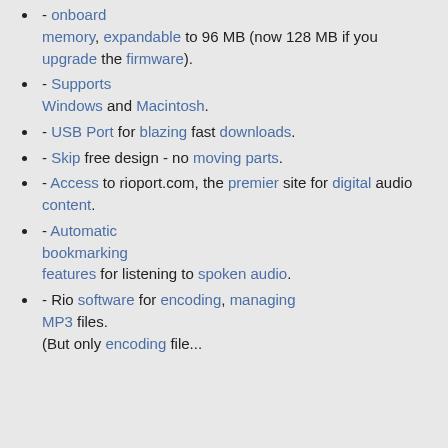- 64 MB onboard memory, expandable to 96 MB (now 128 MB if you upgrade the firmware).
- Supports Windows and Macintosh.
- USB Port for blazing fast downloads.
- Skip free design - no moving parts.
- Access to rioport.com, the premier site for digital audio content.
- Automatic bookmarking features for listening to spoken audio.
- Rio software for encoding, managing MP3 files. (But only encoding files...